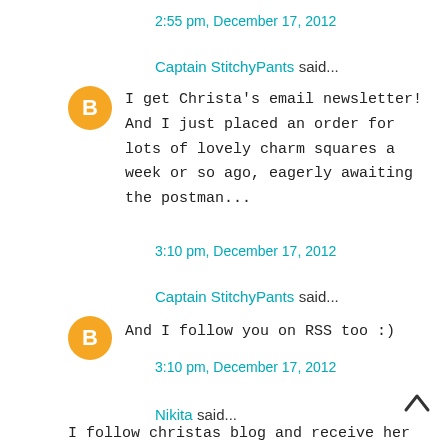2:55 pm, December 17, 2012
Captain StitchyPants said...
I get Christa's email newsletter! And I just placed an order for lots of lovely charm squares a week or so ago, eagerly awaiting the postman...
3:10 pm, December 17, 2012
Captain StitchyPants said...
And I follow you on RSS too :)
3:10 pm, December 17, 2012
Nikita said...
I follow christas blog and receive her